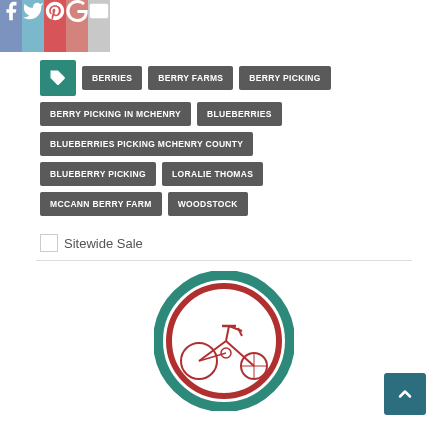[Figure (other): Social media share bar with Facebook, Twitter, Pinterest, Google+, and Email icons]
BERRIES
BERRY FARMS
BERRY PICKING
BERRY PICKING IN MCHENRY
BLUEBERRIES
BLUEBERRIES PICKING MCHENRY COUNTY
BLUEBERRY PICKING
LORALIE THOMAS
MCCANN BERRY FARM
WOODSTOCK
Sitewide Sale
[Figure (logo): Circular logo with a red tricycle/bicycle inside teal and red circular bands]